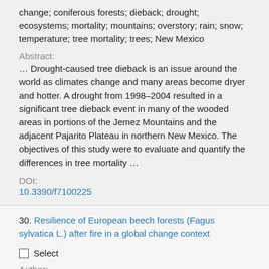change; coniferous forests; dieback; drought; ecosystems; mortality; mountains; overstory; rain; snow; temperature; tree mortality; trees; New Mexico
Abstract:
… Drought-caused tree dieback is an issue around the world as climates change and many areas become dryer and hotter. A drought from 1998–2004 resulted in a significant tree dieback event in many of the wooded areas in portions of the Jemez Mountains and the adjacent Pajarito Plateau in northern New Mexico. The objectives of this study were to evaluate and quantify the differences in tree mortality …
DOI:
10.3390/f7100225
30. Resilience of European beech forests (Fagus sylvatica L.) after fire in a global change context
Select
Author: